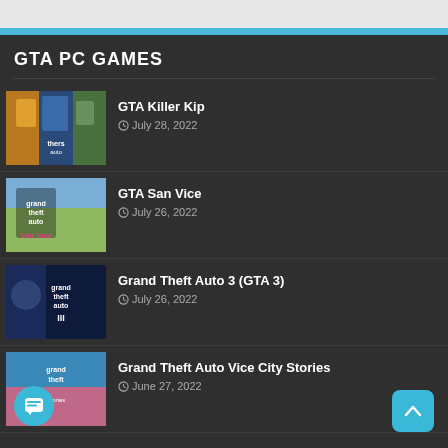GTA PC GAMES
GTA Killer Kip
July 28, 2022
GTA San Vice
July 26, 2022
Grand Theft Auto 3 (GTA 3)
July 26, 2022
Grand Theft Auto Vice City Stories
June 27, 2022